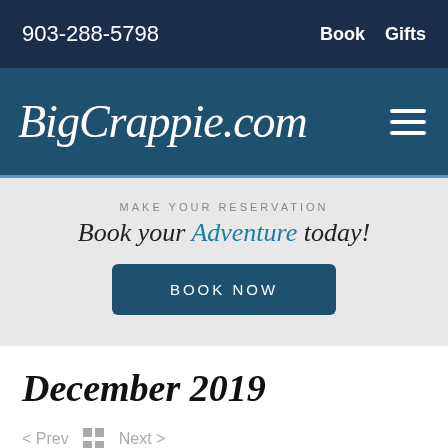903-288-5798  Book  Gifts
BigCrappie.com
MAKE YOUR RESERVATION
Book your Adventure today!
BOOK NOW
December 2019
< Prev  Next >